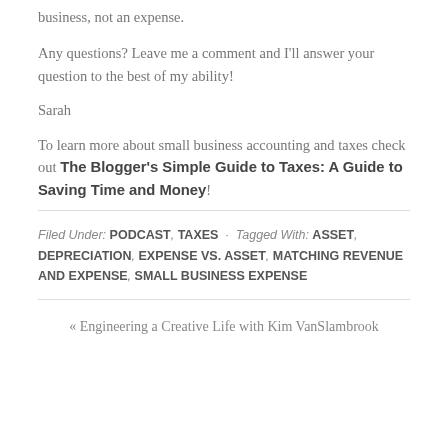business, not an expense.
Any questions?  Leave me a comment and I'll answer your question to the best of my ability!
Sarah
To learn more about small business accounting and taxes check out The Blogger's Simple Guide to Taxes: A Guide to Saving Time and Money!
Filed Under: PODCAST, TAXES · Tagged With: ASSET, DEPRECIATION, EXPENSE VS. ASSET, MATCHING REVENUE AND EXPENSE, SMALL BUSINESS EXPENSE
« Engineering a Creative Life with Kim VanSlambrook